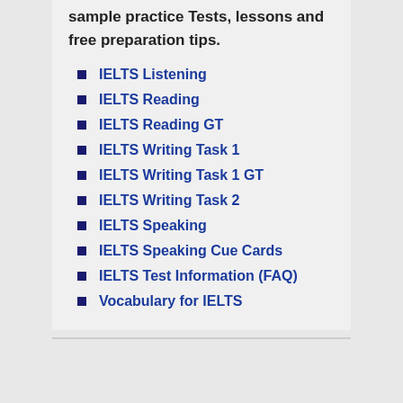sample practice Tests, lessons and free preparation tips.
IELTS Listening
IELTS Reading
IELTS Reading GT
IELTS Writing Task 1
IELTS Writing Task 1 GT
IELTS Writing Task 2
IELTS Speaking
IELTS Speaking Cue Cards
IELTS Test Information (FAQ)
Vocabulary for IELTS